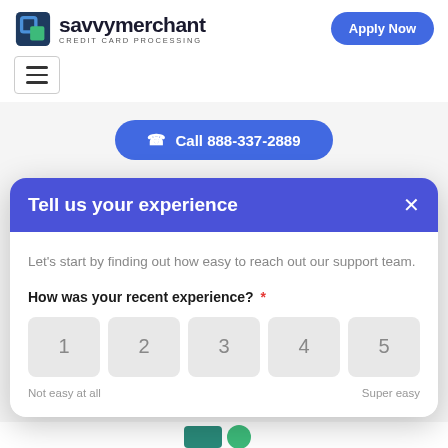[Figure (logo): SavvyMerchant Credit Card Processing logo with stylized S icon in blue/teal]
Apply Now
[Figure (other): Hamburger menu button with three horizontal lines]
Call 888-337-2889
Tell us your experience
Let's start by finding out how easy to reach out our support team.
How was your recent experience? *
Not easy at all
Super easy